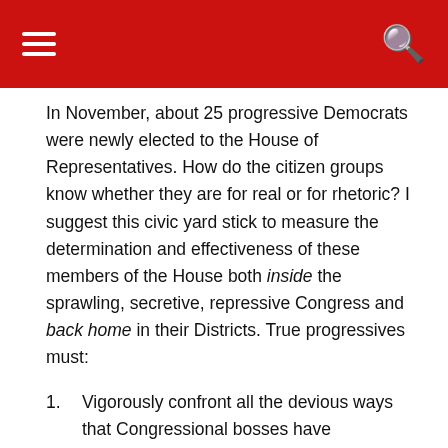[navigation header with hamburger menu and search icon]
In November, about 25 progressive Democrats were newly elected to the House of Representatives. How do the citizen groups know whether they are for real or for rhetoric? I suggest this civic yard stick to measure the determination and effectiveness of these members of the House both inside the sprawling, secretive, repressive Congress and back home in their Districts. True progressives must:
Vigorously confront all the devious ways that Congressional bosses have developed to obstruct the orderly, open, accessible avenues for duly elected progressive candidates to be heard and to participate in Congressional deliberations from the subcommittees to the committees to the floor of the House. Otherwise, the